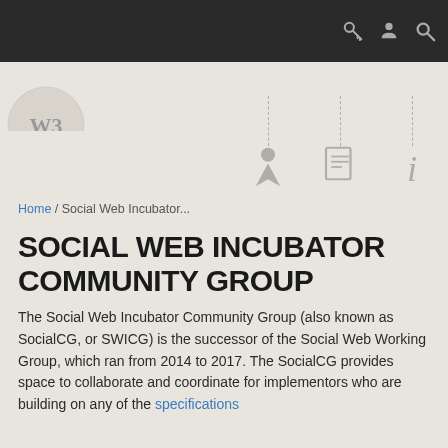[Figure (screenshot): Dark top navigation bar with key icon, user/person icon, and search/magnifying glass icon on the right side]
[Figure (screenshot): Navigation area with W3C-style logo circle on left, and three icon columns with dashed vertical separators showing a person/arrow icon, document icon, and italic i (info) icon]
Home / Social Web Incubator...
SOCIAL WEB INCUBATOR COMMUNITY GROUP
The Social Web Incubator Community Group (also known as SocialCG, or SWICG) is the successor of the Social Web Working Group, which ran from 2014 to 2017. The SocialCG provides space to collaborate and coordinate for implementors who are building on any of the specifications